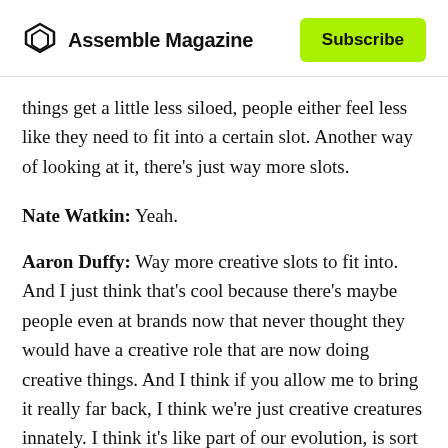Assemble Magazine | Subscribe
things get a little less siloed, people either feel less like they need to fit into a certain slot. Another way of looking at it, there's just way more slots.
Nate Watkin: Yeah.
Aaron Duffy: Way more creative slots to fit into. And I just think that's cool because there's maybe people even at brands now that never thought they would have a creative role that are now doing creative things. And I think if you allow me to bring it really far back, I think we're just creative creatures innately. I think it's like part of our evolution, is sort of like creative minds. And I think we can feel better in ourselves when we get to be creative and spend some of our day and time and brain